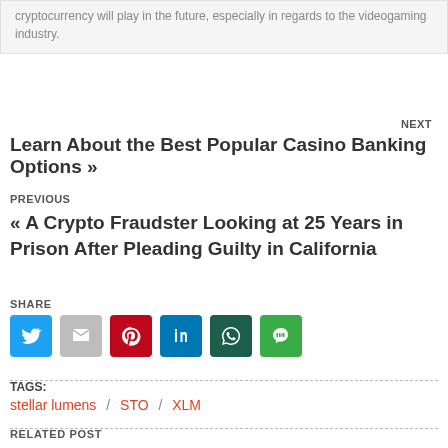cryptocurrency will play in the future, especially in regards to the videogaming industry.
NEXT
Learn About the Best Popular Casino Banking Options »
PREVIOUS
« A Crypto Fraudster Looking at 25 Years in Prison After Pleading Guilty in California
SHARE
[Figure (infographic): Row of 6 social share icons: Twitter (blue), Gmail (grey), Pinterest (red), LinkedIn (blue), WhatsApp (dark green), Line (green)]
TAGS:
stellar lumens / STO / XLM
RELATED POST